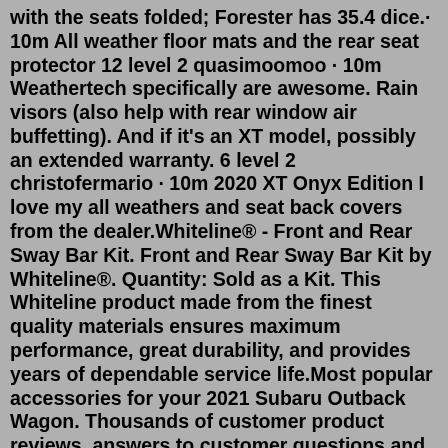with the seats folded; Forester has 35.4 dice.· 10m All weather floor mats and the rear seat protector 12 level 2 quasimoomoo · 10m Weathertech specifically are awesome. Rain visors (also help with rear window air buffetting). And if it's an XT model, possibly an extended warranty. 6 level 2 christofermario · 10m 2020 XT Onyx Edition I love my all weathers and seat back covers from the dealer.Whiteline® - Front and Rear Sway Bar Kit. Front and Rear Sway Bar Kit by Whiteline®. Quantity: Sold as a Kit. This Whiteline product made from the finest quality materials ensures maximum performance, great durability, and provides years of dependable service life.Most popular accessories for your 2021 Subaru Outback Wagon. Thousands of customer product reviews, answers to customer questions and videos of 2021 Subaru Outback Wagon accessories. Guaranteed lowest prices and expert service at 1-800-940-8924. Most popular accessories for your 2021 Subaru Outback Wagon. Thousands of customer product reviews, answers to customer questions and videos of